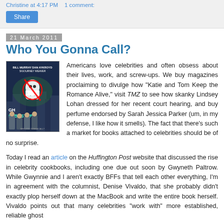Christine at 4:17 PM   1 comment:
Share
21 March 2011
Who You Gonna Call?
[Figure (photo): Ghostbusters DVD movie cover with the four Ghostbusters characters in front of a city skyline]
Americans love celebrities and often obsess about their lives, work, and screw-ups. We buy magazines proclaiming to divulge how "Katie and Tom Keep the Romance Alive," visit TMZ to see how skanky Lindsey Lohan dressed for her recent court hearing, and buy perfume endorsed by Sarah Jessica Parker (um, in my defense, I like how it smells). The fact that there's such a market for books attached to celebrities should be of no surprise.
Today I read an article on the Huffington Post website that discussed the rise in celebrity cookbooks, including one due out soon by Gwyneth Paltrow. While Gwynnie and I aren't exactly BFFs that tell each other everything, I'm in agreement with the columnist, Denise Vivaldo, that she probably didn't exactly plop herself down at the MacBook and write the entire book herself. Vivaldo points out that many celebrities "work with" more established, reliable ghost